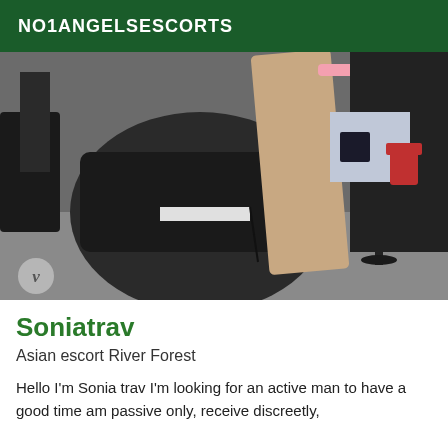NO1ANGELSESCORTS
[Figure (photo): A person in a black outfit with a white stripe, photographed indoors at close range, with a pink wristband visible on the arm.]
Soniatrav
Asian escort River Forest
Hello I'm Sonia trav I'm looking for an active man to have a good time am passive only, receive discreetly,